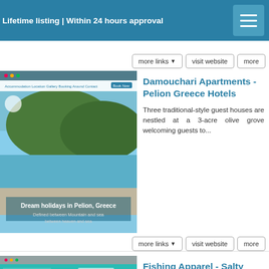Lifetime listing | Within 24 hours approval
Damouchari Apartments - Pelion Greece Hotels
Three traditional-style guest houses are nestled at a 3-acre olive grove welcoming guests to...
Fishing Apparel - Salty Scales
High-performance fishing shirts for men, women, and children, block all harmful UVA and UVB...